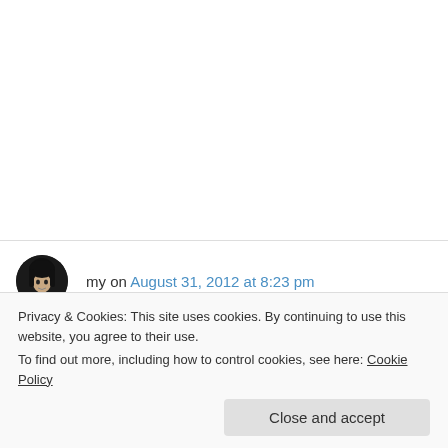my on August 31, 2012 at 8:23 pm
hi Imran

so grateful that i found your website. really in trouble now as i overwrite the data in the database. i run your code but i got this error, would you mind helping me, please,
Privacy & Cookies: This site uses cookies. By continuing to use this website, you agree to their use.
To find out more, including how to control cookies, see here: Cookie Policy
Close and accept
msg 515, Level 16, State 1, Procedure